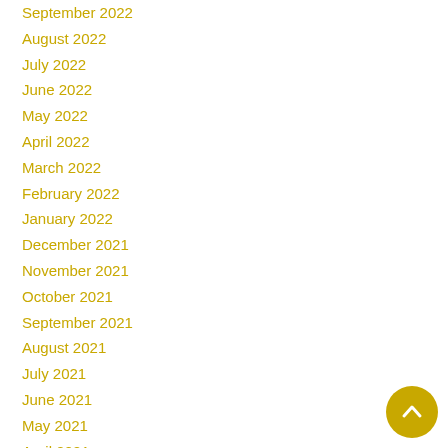September 2022
August 2022
July 2022
June 2022
May 2022
April 2022
March 2022
February 2022
January 2022
December 2021
November 2021
October 2021
September 2021
August 2021
July 2021
June 2021
May 2021
April 2021
March 2021
February 2021
January 2021